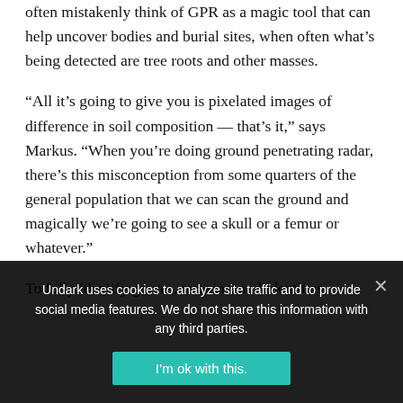often mistakenly think of GPR as a magic tool that can help uncover bodies and burial sites, when often what's being detected are tree roots and other masses.
“All it’s going to give you is pixelated images of difference in soil composition — that’s it,” says Markus. “When you’re doing ground penetrating radar, there’s this misconception from some quarters of the general population that we can scan the ground and magically we’re going to see a skull or a femur or whatever.”
To fully identify graves, remains, and identities,
Undark uses cookies to analyze site traffic and to provide social media features. We do not share this information with any third parties.